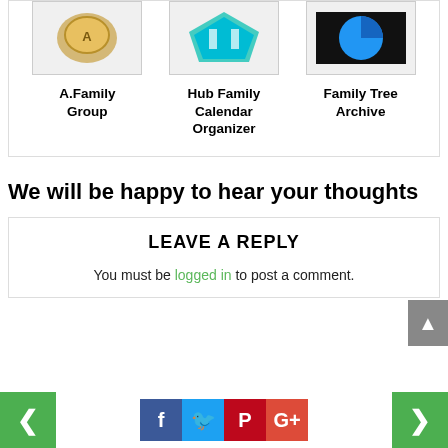[Figure (logo): A.Family Group app logo - gold/bronze ornate design]
[Figure (logo): Hub Family Calendar Organizer app logo - teal/green angular shape]
[Figure (logo): Family Tree Archive app logo - blue circle on black background]
A.Family Group
Hub Family Calendar Organizer
Family Tree Archive
We will be happy to hear your thoughts
LEAVE A REPLY
You must be logged in to post a comment.
[Figure (other): Navigation and social share footer bar with prev/next green buttons and Facebook, Twitter, Pinterest, Google+ icons]